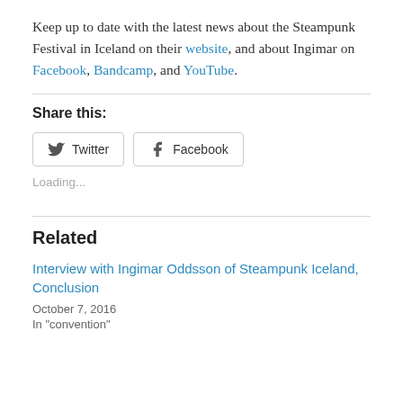Keep up to date with the latest news about the Steampunk Festival in Iceland on their website, and about Ingimar on Facebook, Bandcamp, and YouTube.
Share this:
[Figure (other): Social sharing buttons: Twitter and Facebook]
Loading...
Related
Interview with Ingimar Oddsson of Steampunk Iceland, Conclusion
October 7, 2016
In "convention"